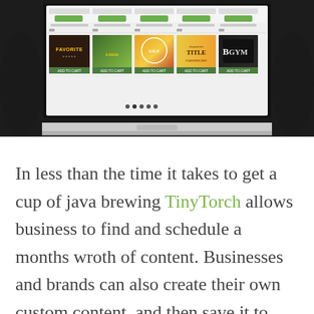[Figure (screenshot): A laptop computer screen displaying a website interface with multiple graphic design templates/logos including 'FAVORITE', a gym logo, and other marketing design tiles shown in a grid layout.]
In less than the time it takes to get a cup of java brewing TinyTorch allows business to find and schedule a months wroth of content. Businesses and brands can also create their own custom content, and then save it to their profile for their own use or for other businesses and brands to share. Unlike some of their competitors, that